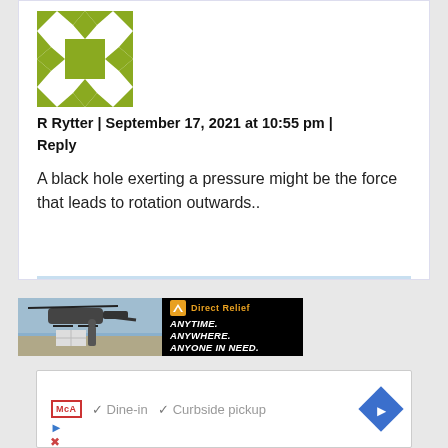[Figure (illustration): Green and olive decorative avatar icon with diamond/square quilt pattern]
R Rytter | September 17, 2021 at 10:55 pm | Reply
A black hole exerting a pressure might be the force that leads to rotation outwards..
[Figure (photo): Direct Relief advertisement showing helicopter loading cargo with text ANYTIME. ANYWHERE. ANYONE IN NEED.]
[Figure (screenshot): Ad card showing McA badge with Dine-in and Curbside pickup checkmarks and navigation arrow]